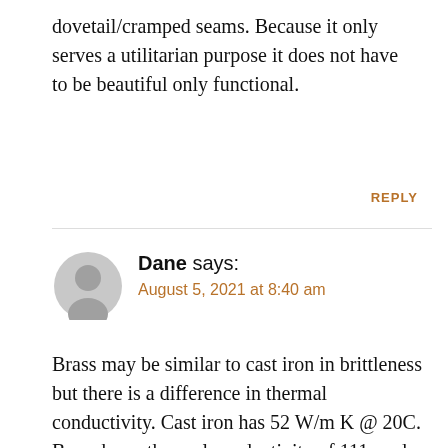dovetail/cramped seams. Because it only serves a utilitarian purpose it does not have to be beautiful only functional.
REPLY
Dane says:
August 5, 2021 at 8:40 am
Brass may be similar to cast iron in brittleness but there is a difference in thermal conductivity. Cast iron has 52 W/m K @ 20C. Brass has a thermal conductivity of 111, and pure copper about 400. I would expect that the more desirable characteristic for a handle is minimal thermal conductance (but still able to withstand cooking temperatures). In that